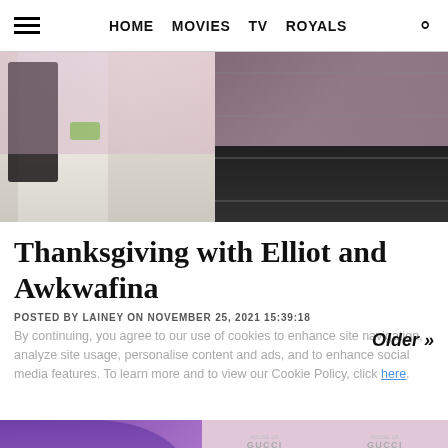HOME MOVIES TV ROYALS
[Figure (photo): Two people walking outdoors. Person on left wearing white coat holding green phone with black bag. Person on right wearing black jacket.]
Thanksgiving with Elliot and Awkwafina
POSTED BY LAINEY ON NOVEMBER 25, 2021 15:39:18
By continuing, you agree to our use of cookies to enhance site navigation, analyze site usage, personalise content and ads, and to enhance social media features. To learn more and to view our Cookie Policy, click here.
[Figure (photo): House of Gucci promotional image showing a person in purple clothing with blonde hair, Gucci logo pattern background, text reading HOUSE OF GUCCI]